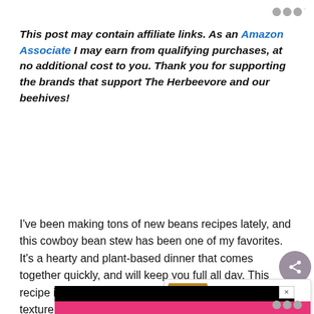This post may contain affiliate links. As an Amazon Associate I may earn from qualifying purchases, at no additional cost to you. Thank you for supporting the brands that support The Herbeevore and our beehives!
I've been making tons of new beans recipes lately, and this cowboy bean stew has been one of my favorites. It's a hearty and plant-based dinner that comes together quickly, and will keep you full all day. This recipe is high in fiber and protein, and has a great texture from using 3 different kinds of beans. This stew is like meatless chili, but has a fun southwest flavor from the barbecue sauce
[Figure (screenshot): Advertisement bar with black header and pink background below, partially visible at bottom of page]